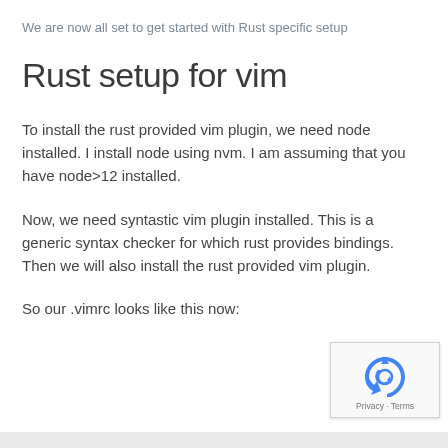We are now all set to get started with Rust specific setup
Rust setup for vim
To install the rust provided vim plugin, we need node installed. I install node using nvm. I am assuming that you have node>12 installed.
Now, we need syntastic vim plugin installed. This is a generic syntax checker for which rust provides bindings. Then we will also install the rust provided vim plugin.
So our .vimrc looks like this now:
[Figure (logo): reCAPTCHA badge with Privacy and Terms links]